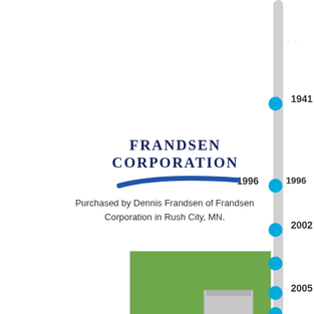[Figure (infographic): Vertical timeline bar with cyan dots marking years 1941, 1996, 2002, 2003, 2005, 2007 on the right side of the page]
[Figure (logo): Frandsen Corporation logo with blue swoosh underneath]
Purchased by Dennis Frandsen of Frandsen Corporation in Rush City, MN.
[Figure (photo): Dog eating from a metal Pet Lodge feeder on grass]
Introduced its Pet Lodge™ brand of pet products, now including cats, dogs, birds, and small animals.
[Figure (logo): Springer Magrath logo - green oval with yellow text]
[Figure (photo): Man in hat and sunglasses wearing blue shirt]